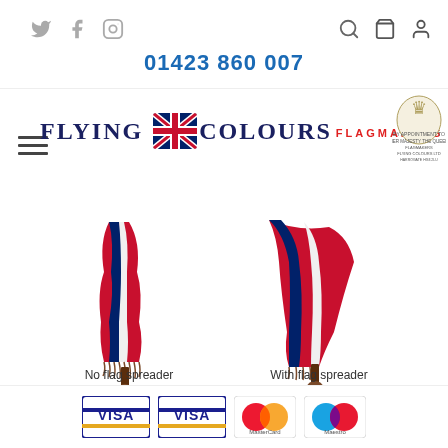01423 860 007
[Figure (logo): Flying Colours Flagmakers logo with Union Jack motif and Royal Warrant crest]
[Figure (photo): Two Union Jack indoor flags on wooden pole stands with gold fringe: left shows no flag spreader, right shows with flag spreader]
No flag spreader   With flag spreader
[Figure (other): Payment method logos: Visa (debit), Visa, MasterCard, Maestro]